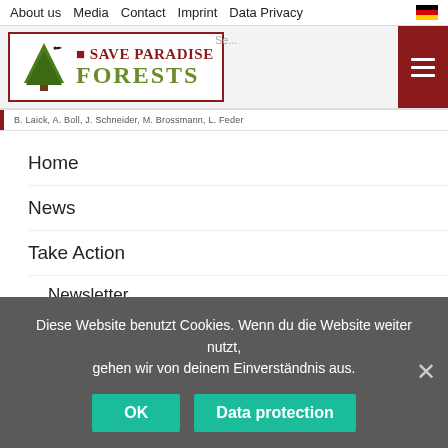About us   Media   Contact   Imprint   Data Privacy
[Figure (logo): Save Paradise Forests logo with green tree and bird icon, red and green text]
B. Laick, A. Boll, J. Schneider, M. Brossmann, L. Feder
Home
News
Take Action
Newsletter
Your donation for our paradise
Diese Website benutzt Cookies. Wenn du die Website weiter nutzt, gehen wir von deinem Einverständnis aus.